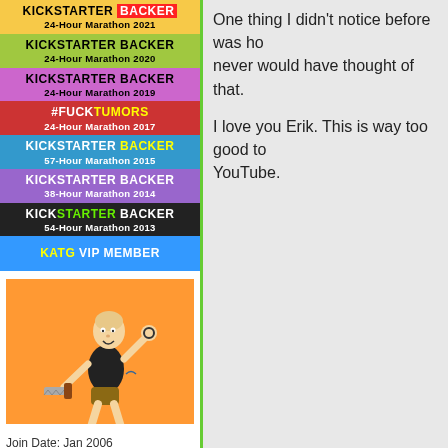[Figure (infographic): Stack of Kickstarter Backer badges for various marathon years (2021, 2020, 2019, 2017, 2015, 2014, 2013) and a KATG VIP Member badge]
[Figure (illustration): Orange background avatar image showing a cartoon wrestler/fighter character holding a saw]
Join Date: Jan 2006
Location: Aotearoa
Posts: 3,824
(Offline)
One thing I didn't notice before was how never would have thought of that.
I love you Erik. This is way too good to YouTube.